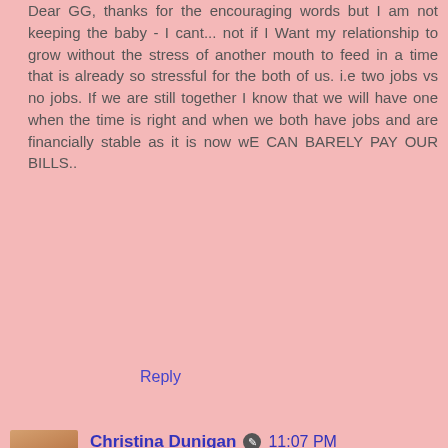Dear GG, thanks for the encouraging words but I am not keeping the baby - I cant... not if I Want my relationship to grow without the stress of another mouth to feed in a time that is already so stressful for the both of us. i.e two jobs vs no jobs. If we are still together I know that we will have one when the time is right and when we both have jobs and are financially stable as it is now wE CAN BARELY PAY OUR BILLS..
Reply
Christina Dunigan  11:07 PM
Been there, done that, joybaby. When I got pregnant with my son we had just sold our wedding rings to buy food for our daughter. We were broke. Thank God we had real help and not a well-meaning friend to pat my hand at the abortion clinic.
My dad had just gotten laid off when my mom found out she was pregnant with me.
Things change. Financial problems come and go. Have you